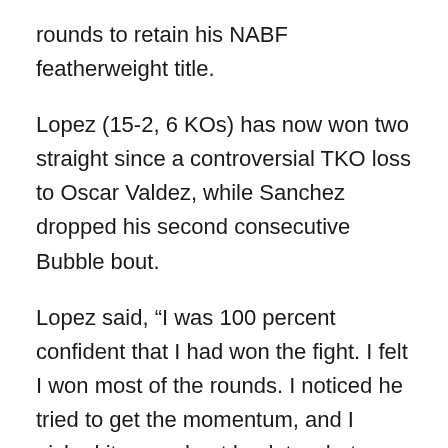rounds to retain his NABF featherweight title.
Lopez (15-2, 6 KOs) has now won two straight since a controversial TKO loss to Oscar Valdez, while Sanchez dropped his second consecutive Bubble bout.
Lopez said, “I was 100 percent confident that I had won the fight. I felt I won most of the rounds. I noticed he tried to get the momentum, and I picked it up and got back to what was working. {Trainer} Buddy {McGirt} had to snap it out of me and get me back to my game plan, and once I did, it was like butter. It was easy.
“I know I have a defense. Furthermore, I can box, and I